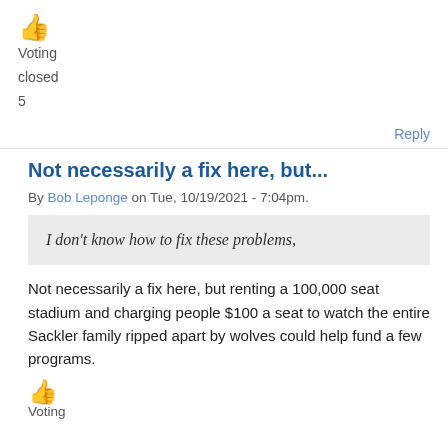[Figure (illustration): Thumbs up emoji icon]
Voting
closed
5
Reply
Not necessarily a fix here, but...
By Bob Leponge on Tue, 10/19/2021 - 7:04pm.
I don't know how to fix these problems,
Not necessarily a fix here, but renting a 100,000 seat stadium and charging people $100 a seat to watch the entire Sackler family ripped apart by wolves could help fund a few programs.
[Figure (illustration): Thumbs up emoji icon]
Voting